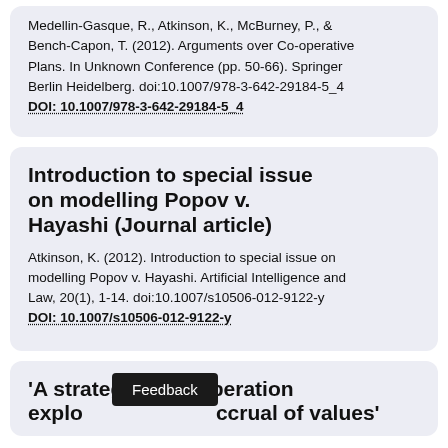Medellin-Gasque, R., Atkinson, K., McBurney, P., & Bench-Capon, T. (2012). Arguments over Co-operative Plans. In Unknown Conference (pp. 50-66). Springer Berlin Heidelberg. doi:10.1007/978-3-642-29184-5_4 DOI: 10.1007/978-3-642-29184-5_4
Introduction to special issue on modelling Popov v. Hayashi (Journal article)
Atkinson, K. (2012). Introduction to special issue on modelling Popov v. Hayashi. Artificial Intelligence and Law, 20(1), 1-14. doi:10.1007/s10506-012-9122-y DOI: 10.1007/s10506-012-9122-y
'A strategy for deliberation exploring accrual of values'